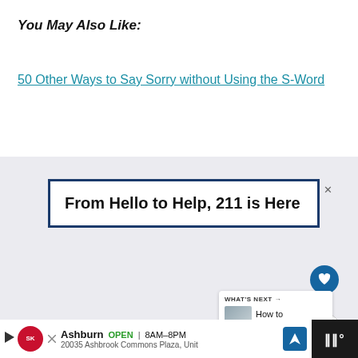You May Also Like:
50 Other Ways to Say Sorry without Using the S-Word
[Figure (screenshot): Advertisement banner: 'From Hello to Help, 211 is Here' with a close button (×), a blue heart/like button, a count of 85, a share button, and a 'What's Next' panel showing 'How to Respond to...']
[Figure (screenshot): Bottom advertisement bar showing Smoothie King logo, play button, 'Ashburn OPEN 8AM-8PM', '20035 Ashbrook Commons Plaza, Unit', a blue navigation/directions icon, and a dark Tidal music app icon]